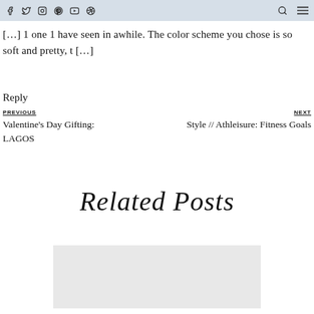social media icons and navigation
[…] 1 one 1 have seen in awhile. The color scheme you chose is so soft and pretty, t […]
Reply
PREVIOUS
Valentine's Day Gifting: LAGOS
NEXT
Style // Athleisure: Fitness Goals
Related Posts
[Figure (photo): Gray placeholder image for a related post thumbnail]